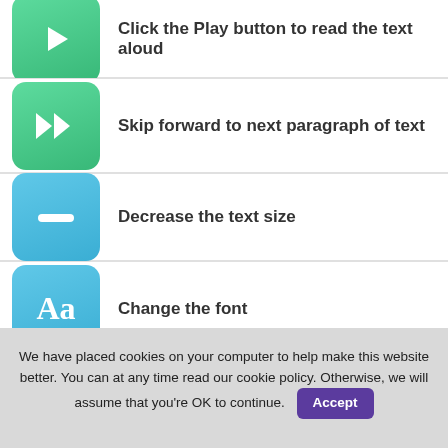Click the Play button to read the text aloud
Skip forward to next paragraph of text
Decrease the text size
Change the font
We have placed cookies on your computer to help make this website better. You can at any time read our cookie policy. Otherwise, we will assume that you're OK to continue.